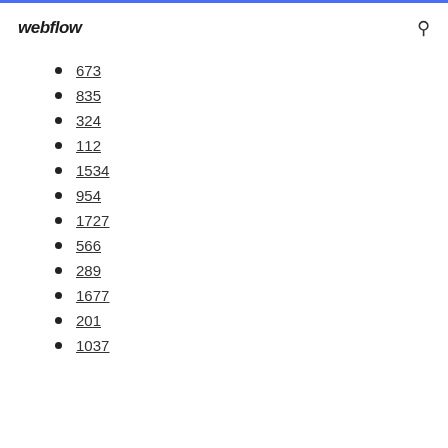webflow
673
835
324
112
1534
954
1727
566
289
1677
201
1037